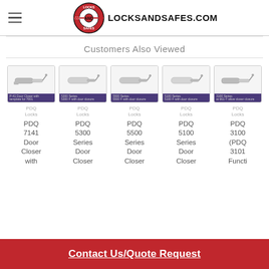LOCKSANDSAFES.COM
Customers Also Viewed
[Figure (photo): Product thumbnail: PDQ 7141 door closer]
PDQ Locks
PDQ 7141 Door Closer with
[Figure (photo): Product thumbnail: PDQ 5300 Series door closer]
PDQ Locks
PDQ 5300 Series Door Closer
[Figure (photo): Product thumbnail: PDQ 5500 Series door closer]
PDQ Locks
PDQ 5500 Series Door Closer
[Figure (photo): Product thumbnail: PDQ 5100 Series door closer]
PDQ Locks
PDQ 5100 Series Door Closer
[Figure (photo): Product thumbnail: PDQ 3100 Series door closer]
PDQ Locks
PDQ 3100 (PDQ 3101 Functi
Contact Us/Quote Request